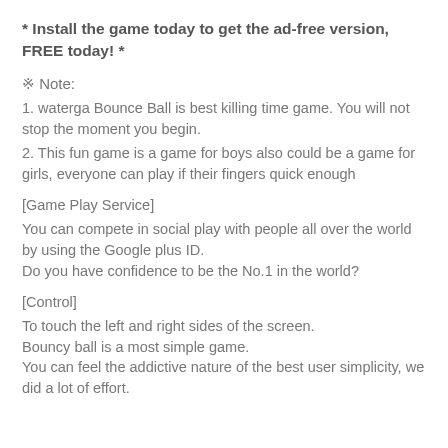* Install the game today to get the ad-free version, FREE today! *
※ Note:
1. waterga Bounce Ball is best killing time game. You will not stop the moment you begin.
2. This fun game is a game for boys also could be a game for girls, everyone can play if their fingers quick enough
[Game Play Service]
You can compete in social play with people all over the world by using the Google plus ID.
Do you have confidence to be the No.1 in the world?
[Control]
To touch the left and right sides of the screen.
Bouncy ball is a most simple game.
You can feel the addictive nature of the best user simplicity, we did a lot of effort.